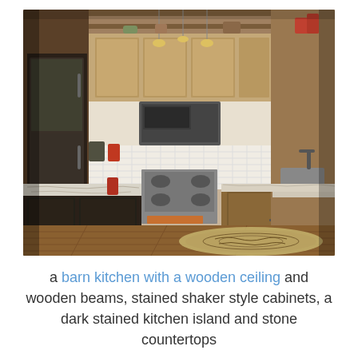[Figure (photo): Interior photo of a barn-style kitchen with wooden ceiling and beams, stained shaker style cabinets in warm brown tones, a dark stained kitchen island with granite/stone countertop, stainless steel appliances including refrigerator, range, and microwave, white subway tile backsplash, hardwood floors, a decorative area rug, and pendant lighting.]
a barn kitchen with a wooden ceiling and wooden beams, stained shaker style cabinets, a dark stained kitchen island and stone countertops